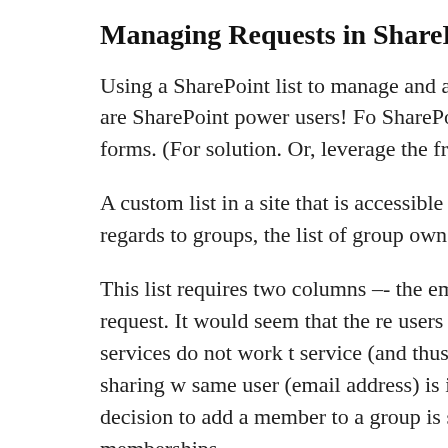Managing Requests in SharePoint
Using a SharePoint list to manage and approve rec solutions are there are SharePoint power users! Fo SharePoint list and the out-of-the-box forms. (For solution. Or, leverage the free Stratus Forms solut
A custom list in a site that is accessible to all group thinking in regards to groups, the list of group own
This list requires two columns -- the email address feedback on the request. It would seem that the re users should access. But the services do not work t service (and thus the group files) to allow sharing w same user (email address) is invited to multiple gro The decision to add a member to a group is still the modify group memberships.